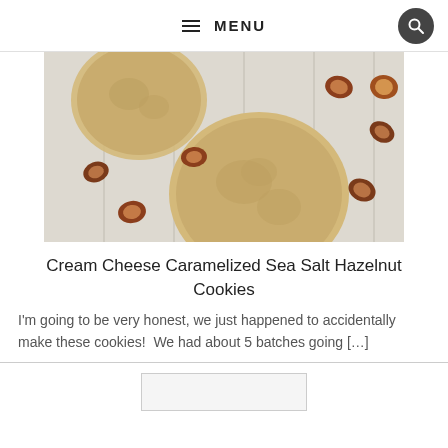≡ MENU
[Figure (photo): Overhead view of cream cheese hazelnut cookies on a white wooden surface, with whole hazelnuts scattered around.]
Cream Cheese Caramelized Sea Salt Hazelnut Cookies
I'm going to be very honest, we just happened to accidentally make these cookies!  We had about 5 batches going […]